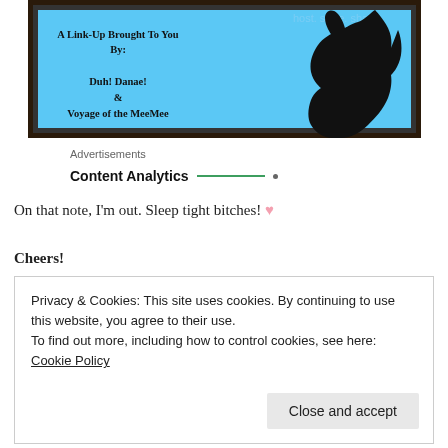[Figure (illustration): A framed blog graphic on a blue background showing text 'A Link-Up Brought To You By: Duh! Danae! & Voyage of the MeeMee' with a black cat silhouette, and partial watermark text 'host. store. share.' visible at top.]
Advertisements
Content Analytics
On that note, I'm out. Sleep tight bitches! ♥
Cheers!
Privacy & Cookies: This site uses cookies. By continuing to use this website, you agree to their use.
To find out more, including how to control cookies, see here: Cookie Policy
Close and accept